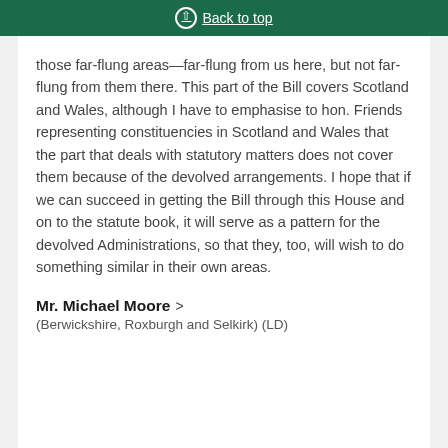Back to top
those far-flung areas—far-flung from us here, but not far-flung from them there. This part of the Bill covers Scotland and Wales, although I have to emphasise to hon. Friends representing constituencies in Scotland and Wales that the part that deals with statutory matters does not cover them because of the devolved arrangements. I hope that if we can succeed in getting the Bill through this House and on to the statute book, it will serve as a pattern for the devolved Administrations, so that they, too, will wish to do something similar in their own areas.
Mr. Michael Moore
(Berwickshire, Roxburgh and Selkirk) (LD)